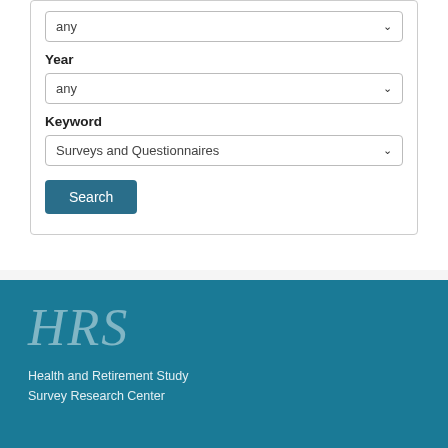any (dropdown)
Year
any (dropdown)
Keyword
Surveys and Questionnaires (dropdown)
Search (button)
[Figure (logo): HRS logo - large italic serif text in light blue/grey on teal background]
Health and Retirement Study
Survey Research Center